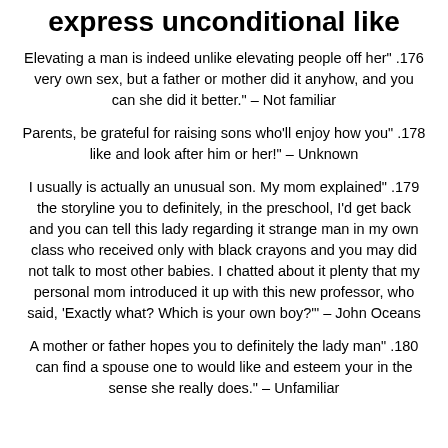express unconditional like
Elevating a man is indeed unlike elevating people off her" .176 very own sex, but a father or mother did it anyhow, and you can she did it better." – Not familiar
Parents, be grateful for raising sons who'll enjoy how you" .178 like and look after him or her!" – Unknown
I usually is actually an unusual son. My mom explained" .179 the storyline you to definitely, in the preschool, I'd get back and you can tell this lady regarding it strange man in my own class who received only with black crayons and you may did not talk to most other babies. I chatted about it plenty that my personal mom introduced it up with this new professor, who said, 'Exactly what? Which is your own boy?'" – John Oceans
A mother or father hopes you to definitely the lady man" .180 can find a spouse one to would like and esteem your in the sense she really does." – Unfamiliar